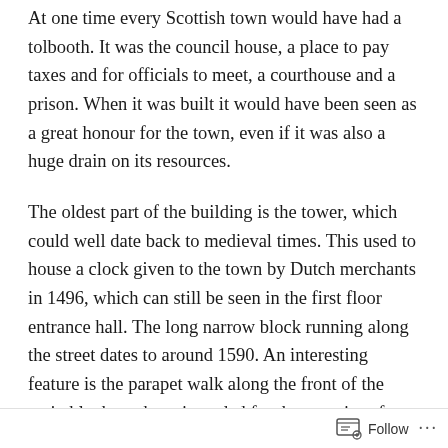At one time every Scottish town would have had a tolbooth. It was the council house, a place to pay taxes and for officials to meet, a courthouse and a prison. When it was built it would have been seen as a great honour for the town, even if it was also a huge drain on its resources.
The oldest part of the building is the tower, which could well date back to medieval times. This used to house a clock given to the town by Dutch merchants in 1496, which can still be seen in the first floor entrance hall. The long narrow block running along the street dates to around 1590. An interesting feature is the parapet walk along the front of the main block, perhaps intended for the exercise of prisoners.
In the Georgian period a new wing was constructed next
Follow ···